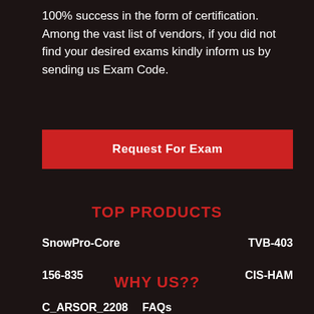100% success in the form of certification. Among the vast list of vendors, if you did not find your desired exams kindly inform us by sending us Exam Code.
Request For Exam
TOP PRODUCTS
SnowPro-Core
TVB-403
156-835
CIS-HAM
C_ARSOR_2208
WHY US??
FAQs